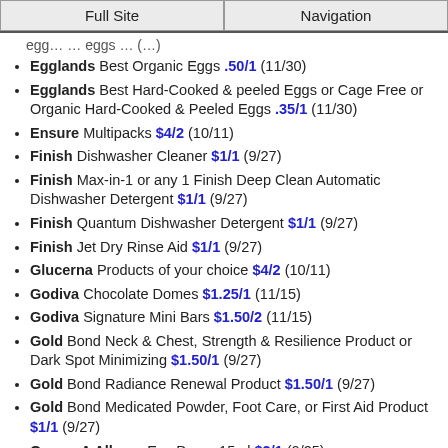Full Site | Navigation
Egglands Best Organic Eggs .50/1 (11/30)
Egglands Best Hard-Cooked & peeled Eggs or Cage Free or Organic Hard-Cooked & Peeled Eggs .35/1 (11/30)
Ensure Multipacks $4/2 (10/11)
Finish Dishwasher Cleaner $1/1 (9/27)
Finish Max-in-1 or any 1 Finish Deep Clean Automatic Dishwasher Detergent $1/1 (9/27)
Finish Quantum Dishwasher Detergent $1/1 (9/27)
Finish Jet Dry Rinse Aid $1/1 (9/27)
Glucerna Products of your choice $4/2 (10/11)
Godiva Chocolate Domes $1.25/1 (11/15)
Godiva Signature Mini Bars $1.50/2 (11/15)
Gold Bond Neck & Chest, Strength & Resilience Product or Dark Spot Minimizing $1.50/1 (9/27)
Gold Bond Radiance Renewal Product $1.50/1 (9/27)
Gold Bond Medicated Powder, Foot Care, or First Aid Product $1/1 (9/27)
Opcon-A Allergy Eye Drops 15ml $2/1 (9/25)
Poise Pads OR Liners (exc. 14-26ct Liners or 10ct Pads) $0/1 (9/26)